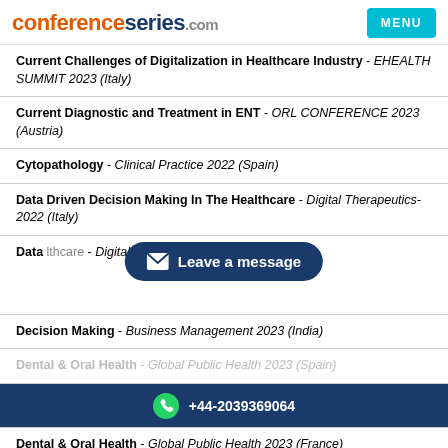conferenceseries.com  MENU
Current Challenges of Digitalization in Healthcare Industry - EHEALTH SUMMIT 2023 (Italy)
Current Diagnostic and Treatment in ENT - ORL CONFERENCE 2023 (Austria)
Cytopathology - Clinical Practice 2022 (Spain)
Data Driven Decision Making In The Healthcare - Digital Therapeutics-2022 (Italy)
Data [Leave a message overlay] lthcare - Digital Therapeutics-2022 (Italy)
Decision Making - Business Management 2023 (India)
Dental & Oral Health - Global Public Health 2023 (Spain)
+44-2039369064
Dental & Oral Health - Global Public Health 2023 (France)